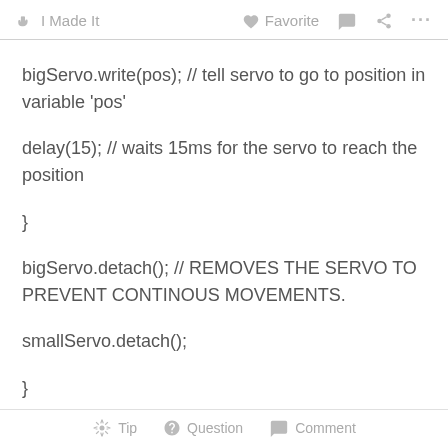I Made It   Favorite   Comment   Share   ...
bigServo.write(pos); // tell servo to go to position in variable 'pos'
delay(15); // waits 15ms for the servo to reach the position
}
bigServo.detach(); // REMOVES THE SERVO TO PREVENT CONTINOUS MOVEMENTS.
smallServo.detach();
}
Tip   Question   Comment